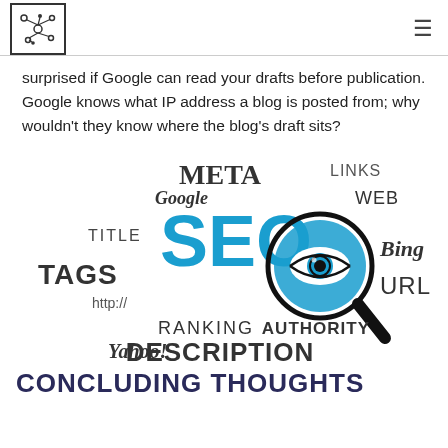[logo] [hamburger menu]
surprised if Google can read your drafts before publication. Google knows what IP address a blog is posted from; why wouldn't they know where the blog's draft sits?
[Figure (infographic): SEO word cloud infographic with magnifying glass/eye icon. Words include: META, LINKS, Google, WEB, TITLE, SEO (large, blue), Bing, TAGS, http://, URL, RANKING, AUTHORITY, Yahoo!, DESCRIPTION]
CONCLUDING THOUGHTS